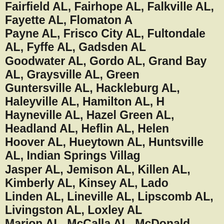Fairfield AL, Fairhope AL, Falkville AL, Fayette AL, Flomaton A Payne AL, Frisco City AL, Fultondale AL, Fyffe AL, Gadsden AL Goodwater AL, Gordo AL, Grand Bay AL, Graysville AL, Green Guntersville AL, Hackleburg AL, Haleyville AL, Hamilton AL, H Hayneville AL, Hazel Green AL, Headland AL, Heflin AL, Helen Hoover AL, Hueytown AL, Huntsville AL, Indian Springs Villag Jasper AL, Jemison AL, Killen AL, Kimberly AL, Kinsey AL, Lado Linden AL, Lineville AL, Lipscomb AL, Livingston AL, Loxley AL Marion AL, McCalla AL, McDonald Chapel AL, Meadowbrook AL, Minor AL, Mobile AL, Monroeville AL, Montevallo AL, Mo Olive AL, Mountain Brook AL, Munford AL, Muscle Shoals AL, AL, Odenville AL, Ohatchee AL, Oneonta AL, Opelika AL, Opp Ozark AL, Parrish AL, Pelham AL, Pell City AL, Perdido AL, Phe Prattville AL, Priceville AL, Prichard AL, Ragland AL, Rainbow Robertsdale AL, Robinwood AL, Rockford AL, Rogersville AL, R Satsuma AL, Scottsboro AL, Selma AL, Semmes AL, Shannon A Fort AL, Springville AL, Stapleton AL, Steele AL, Stevenson AL, Springs AL, Talladega AL, Tallassee AL, Tarrant AL, Taylor AL, Th Troy AL, Trussville AL, Tuscaloosa AL, Tuscumbia AL, Tuskegee Hills AL, Vincent AL, Warrior AL, Weaver AL, Webb AL, West B and York AL...